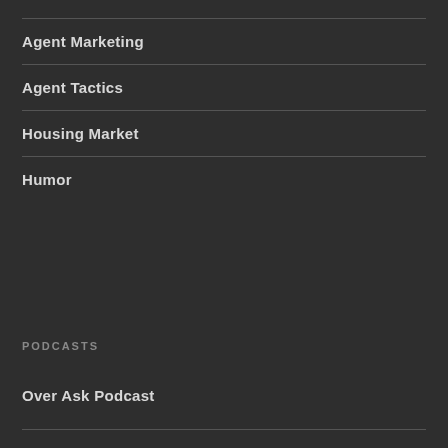Agent Marketing
Agent Tactics
Housing Market
Humor
PODCASTS
Over Ask Podcast